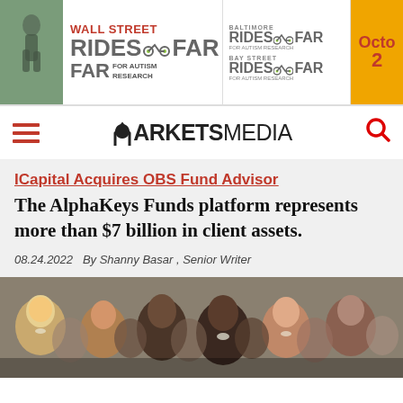[Figure (other): Banner advertisement for 'Wall Street Rides Far for Autism Research', 'Baltimore Rides Far', 'Bay Street Rides Far', with October date, featuring bike icons and a partial photo of a cyclist.]
MARKETS MEDIA
ICapital Acquires OBS Fund Advisor
The AlphaKeys Funds platform represents more than $7 billion in client assets.
08.24.2022   By Shanny Basar , Senior Writer
[Figure (photo): Group photo of diverse professional women smiling, dressed in business attire.]